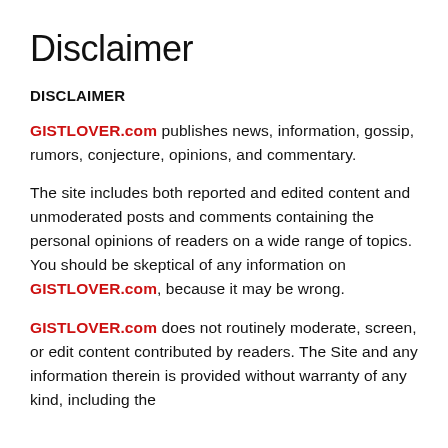Disclaimer
DISCLAIMER
GISTLOVER.com publishes news, information, gossip, rumors, conjecture, opinions, and commentary.
The site includes both reported and edited content and unmoderated posts and comments containing the personal opinions of readers on a wide range of topics. You should be skeptical of any information on GISTLOVER.com, because it may be wrong.
GISTLOVER.com does not routinely moderate, screen, or edit content contributed by readers. The Site and any information therein is provided without warranty of any kind, including the